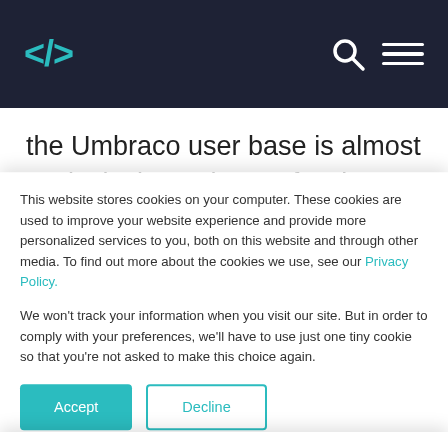</> [search icon] [hamburger menu]
the Umbraco user base is almost exclusively made up of web developers.
The differences in demographics are a result of the different goals each platform has. WordPress has endeavoured to be a platform for everyone.
This website stores cookies on your computer. These cookies are used to improve your website experience and provide more personalized services to you, both on this website and through other media. To find out more about the cookies we use, see our Privacy Policy.
We won't track your information when you visit our site. But in order to comply with your preferences, we'll have to use just one tiny cookie so that you're not asked to make this choice again.